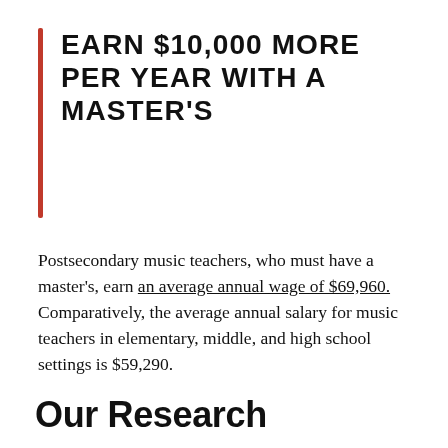EARN $10,000 MORE PER YEAR WITH A MASTER'S
Postsecondary music teachers, who must have a master's, earn an average annual wage of $69,960. Comparatively, the average annual salary for music teachers in elementary, middle, and high school settings is $59,290.
Our Research